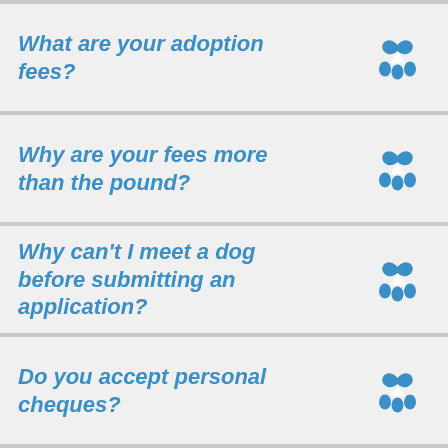What are your adoption fees?
Why are your fees more than the pound?
Why can't I meet a dog before submitting an application?
Do you accept personal cheques?